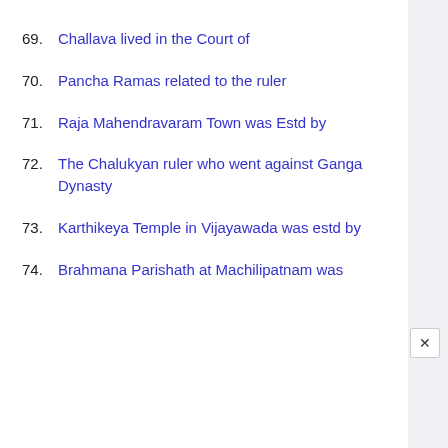69. Challava lived in the Court of
70. Pancha Ramas related to the ruler
71. Raja Mahendravaram Town was Estd by
72. The Chalukyan ruler who went against Ganga Dynasty
73. Karthikeya Temple in Vijayawada was estd by
74. Brahmana Parishath at Machilipatnam was